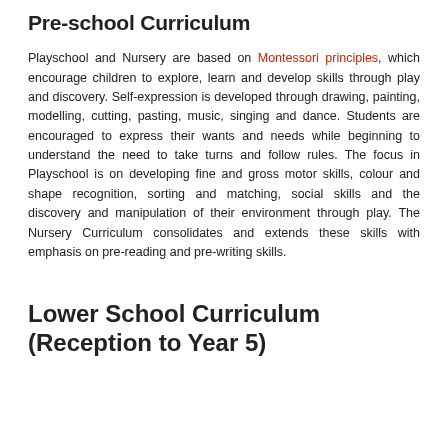Pre-school Curriculum
Playschool and Nursery are based on Montessori principles, which encourage children to explore, learn and develop skills through play and discovery. Self-expression is developed through drawing, painting, modelling, cutting, pasting, music, singing and dance. Students are encouraged to express their wants and needs while beginning to understand the need to take turns and follow rules. The focus in Playschool is on developing fine and gross motor skills, colour and shape recognition, sorting and matching, social skills and the discovery and manipulation of their environment through play. The Nursery Curriculum consolidates and extends these skills with emphasis on pre-reading and pre-writing skills.
Lower School Curriculum (Reception to Year 5)